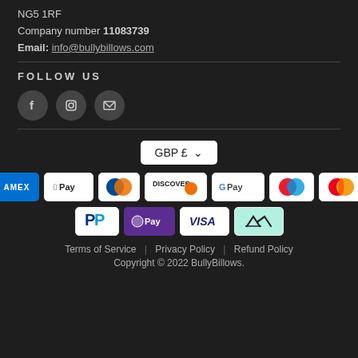NG5 1RF
Company number 11083739
Email: info@bullybillows.com
FOLLOW US
[Figure (infographic): Three circular social media icons: Facebook (f), Instagram (camera), and Email (envelope)]
[Figure (infographic): Currency selector box showing GBP £ with dropdown arrow]
[Figure (infographic): Payment method logos: AMEX, Apple Pay, Diners Club, Discover, Google Pay, Maestro, Mastercard, PayPal, OPay, Visa, Afterpay]
Terms of Service | Privacy Policy | Refund Policy
Copyright © 2022 BullyBillows.